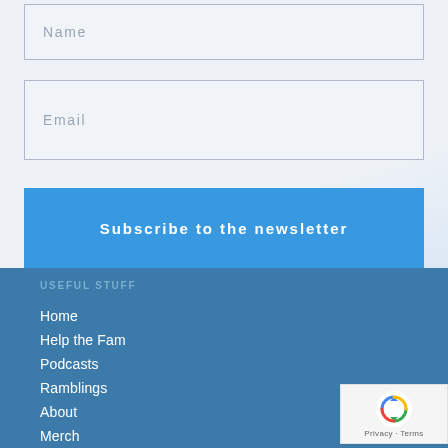Name
Email
Subscribe to the newsletter
USEFUL STUFF
Home
Help the Fam
Podcasts
Ramblings
About
Merch
[Figure (logo): reCAPTCHA badge with recycling-arrow icon and Privacy - Terms text]